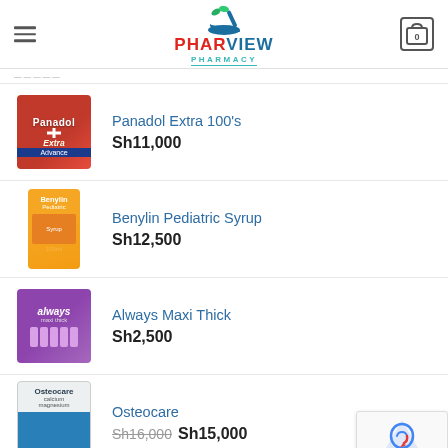PHARVIEW PHARMACY
Panadol Extra 100's — Sh11,000
Benylin Pediatric Syrup — Sh12,500
Always Maxi Thick — Sh2,500
Osteocare — Sh16,000 (sale) Sh15,000